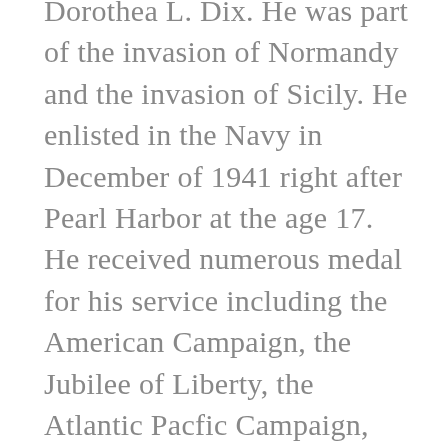Dorothea L. Dix. He was part of the invasion of Normandy and the invasion of Sicily. He enlisted in the Navy in December of 1941 right after Pearl Harbor at the age 17. He received numerous medal for his service including the American Campaign, the Jubilee of Liberty, the Atlantic Pacfic Campaign, the New York State Medal of Merit, the European African Middle Eastern Campaign and the World War II Medal. While stationed on the USS Dorothea L. Dix he met Ernest Hemingway, who was a war corespondent. While serving in the US Navy, he visited Iceland, Scotland, Italy, Africa and Japan. Anio was